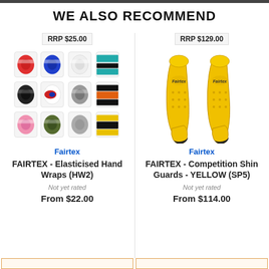WE ALSO RECOMMEND
RRP $25.00
RRP $129.00
[Figure (photo): Fairtex hand wraps in multiple colors arranged in a grid]
[Figure (photo): Fairtex yellow competition shin guards (SP5)]
Fairtex
Fairtex
FAIRTEX - Elasticised Hand Wraps (HW2)
FAIRTEX - Competition Shin Guards - YELLOW (SP5)
Not yet rated
Not yet rated
From $22.00
From $114.00